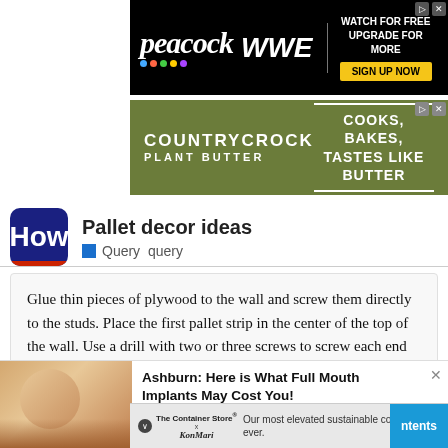[Figure (screenshot): Peacock WWE advertisement banner - Watch for Free, Upgrade for More, Sign Up Now]
[Figure (screenshot): Country Crock Plant Butter advertisement - Cooks, Bakes, Tastes Like Butter]
Pallet decor ideas
Query  query
Glue thin pieces of plywood to the wall and screw them directly to the studs. Place the first pallet strip in the center of the top of the wall. Use a drill with two or three screws to screw each end of the board to the wall. Repeat the process from the center to the edge, moving each piece of wood.
[Figure (photo): Woman smiling at dental office - Ashburn: Here is What Full Mouth Implants May Cost You! advertisement]
[Figure (screenshot): The Container Store x KonMari advertisement - Our most elevated sustainable collection ever.]